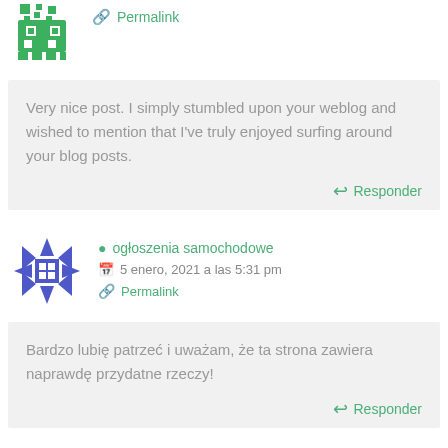Permalink
Very nice post. I simply stumbled upon your weblog and wished to mention that I've truly enjoyed surfing around your blog posts.
Responder
ogłoszenia samochodowe
5 enero, 2021 a las 5:31 pm
Permalink
Bardzo lubię patrzeć i uważam, że ta strona zawiera naprawdę przydatne rzeczy!
Responder
cheap paroxetine
9 enero, 2021 a las 12:55 am
Permalink